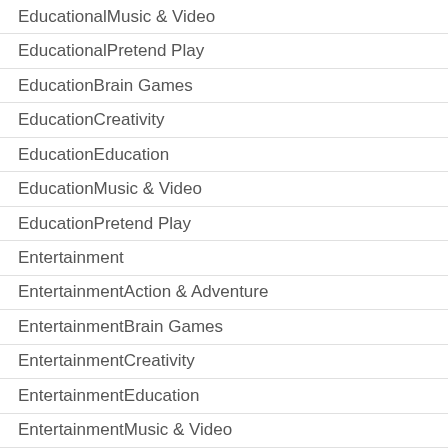EducationalMusic & Video
EducationalPretend Play
EducationBrain Games
EducationCreativity
EducationEducation
EducationMusic & Video
EducationPretend Play
Entertainment
EntertainmentAction & Adventure
EntertainmentBrain Games
EntertainmentCreativity
EntertainmentEducation
EntertainmentMusic & Video